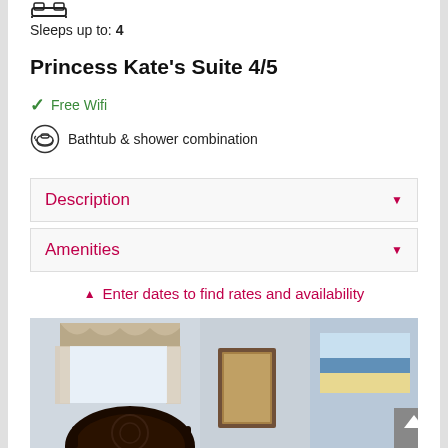Sleeps up to: 4
Princess Kate's Suite 4/5
✓ Free Wifi
Bathtub & shower combination
Description ▼
Amenities ▼
▲ Enter dates to find rates and availability
[Figure (photo): Hotel room interior showing a bed with decorative headboard, window with valance curtains, a mirror, and coastal artwork on the wall.]